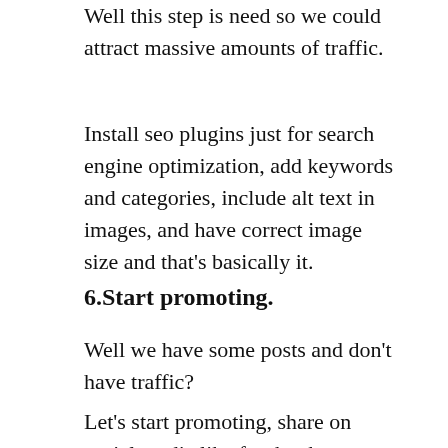Well this step is need so we could attract massive amounts of traffic.
Install seo plugins just for search engine optimization, add keywords and categories, include alt text in images, and have correct image size and that's basically it.
6.Start promoting.
Well we have some posts and don't have traffic?
Let's start promoting, share on social media like facebook or twitter.